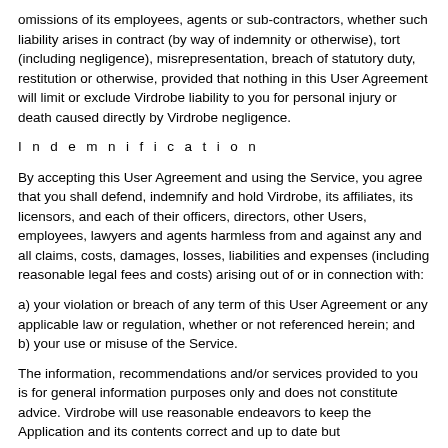omissions of its employees, agents or sub-contractors, whether such liability arises in contract (by way of indemnity or otherwise), tort (including negligence), misrepresentation, breach of statutory duty, restitution or otherwise, provided that nothing in this User Agreement will limit or exclude Virdrobe liability to you for personal injury or death caused directly by Virdrobe negligence.
I n d e m n i f i c a t i o n
By accepting this User Agreement and using the Service, you agree that you shall defend, indemnify and hold Virdrobe, its affiliates, its licensors, and each of their officers, directors, other Users, employees, lawyers and agents harmless from and against any and all claims, costs, damages, losses, liabilities and expenses (including reasonable legal fees and costs) arising out of or in connection with:
a) your violation or breach of any term of this User Agreement or any applicable law or regulation, whether or not referenced herein; and b) your use or misuse of the Service.
The information, recommendations and/or services provided to you is for general information purposes only and does not constitute advice. Virdrobe will use reasonable endeavors to keep the Application and its contents correct and up to date but